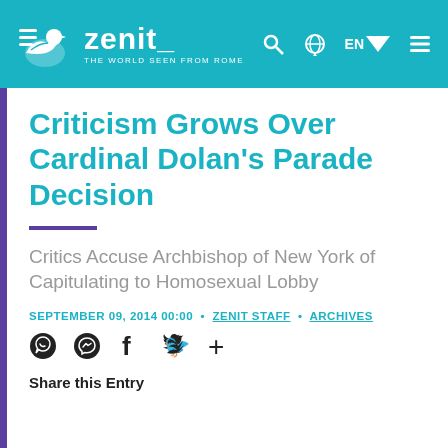zenit_ THE WORLD SEEN FROM ROME
Criticism Grows Over Cardinal Dolan's Parade Decision
Critics Accuse Archbishop of New York of Capitulating to Homosexual Lobby
SEPTEMBER 09, 2014 00:00 • ZENIT STAFF • ARCHIVES
Share this Entry